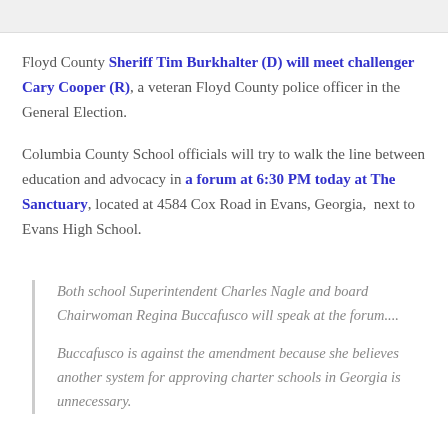Floyd County Sheriff Tim Burkhalter (D) will meet challenger Cary Cooper (R), a veteran Floyd County police officer in the General Election.
Columbia County School officials will try to walk the line between education and advocacy in a forum at 6:30 PM today at The Sanctuary, located at 4584 Cox Road in Evans, Georgia,  next to Evans High School.
Both school Superintendent Charles Nagle and board Chairwoman Regina Buccafusco will speak at the forum....
Buccafusco is against the amendment because she believes another system for approving charter schools in Georgia is unnecessary.